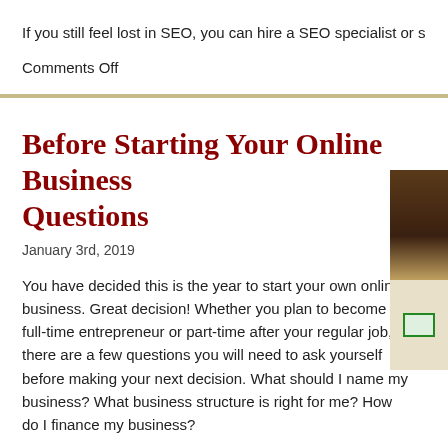If you still feel lost in SEO, you can hire a SEO specialist or seek h
Comments Off
Before Starting Your Online Business Questions
January 3rd, 2019
You have decided this is the year to start your own online business. Great decision! Whether you plan to become a full-time entrepreneur or part-time after your regular job, there are a few questions you will need to ask yourself before making your next decision. What should I name my business? What business structure is right for me? How do I finance my business?
What Should I Name My Business?
Spend some time in choosing a business name that will
[Figure (photo): Photo of a coffee cup or mug on a table, partially cropped on the right edge of the page]